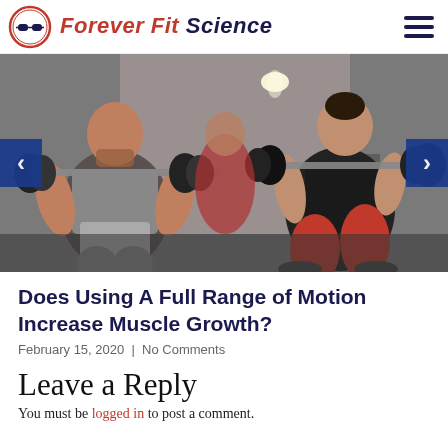Forever Fit Science
[Figure (photo): Two people performing barbell squats in a gym; a muscular man on the left in a grey sleeveless shirt and a woman on the right in red leggings and black top, both with heavy barbells across their shoulders in a squatting position.]
Does Using A Full Range of Motion Increase Muscle Growth?
February 15, 2020  |  No Comments
Leave a Reply
You must be logged in to post a comment.